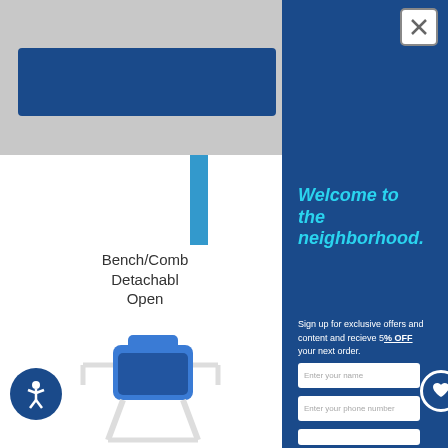[Figure (screenshot): Left panel showing partial e-commerce website with gray header, blue button, product listing for Bench/Combi with Detachable Open type by Nova Medical priced at $129.95, 4.5 star rating, and a blue medical chair product image at bottom. Accessibility icon visible bottom left.]
Welcome to the neighborhood.
Sign up for exclusive offers and content and recieve 5% OFF your next order.
Enter your name
Enter your phone number